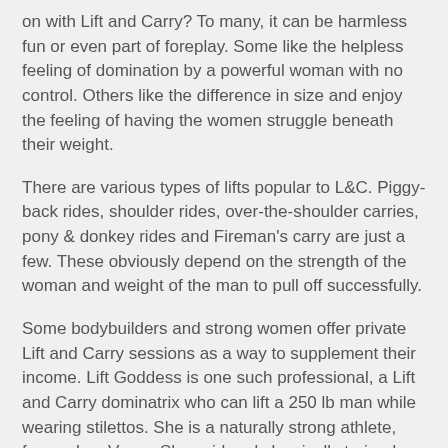on with Lift and Carry? To many, it can be harmless fun or even part of foreplay. Some like the helpless feeling of domination by a powerful woman with no control. Others like the difference in size and enjoy the feeling of having the women struggle beneath their weight.
There are various types of lifts popular to L&C. Piggy-back rides, shoulder rides, over-the-shoulder carries, pony & donkey rides and Fireman's carry are just a few. These obviously depend on the strength of the woman and weight of the man to pull off successfully.
Some bodybuilders and strong women offer private Lift and Carry sessions as a way to supplement their income. Lift Goddess is one such professional, a Lift and Carry dominatrix who can lift a 250 lb man while wearing stilettos. She is a naturally strong athlete, former Las Vegas Showgirl and classically trained dancer. A one hour sessions runs $400 plus a $100 booking fee. She describes the experience as "You will be lifted born upon the wings of my superior strength. I may carry you in my arms like a child. And you will wonder.... am I your Protector, or are you my prey?"